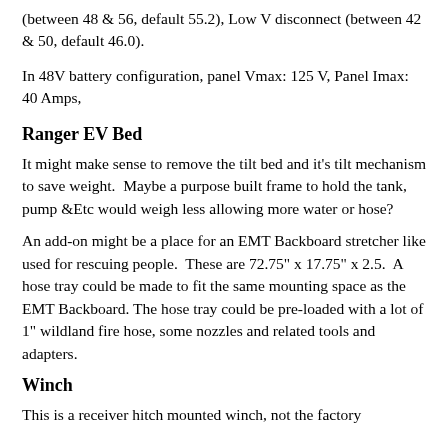(between 48 & 56, default 55.2), Low V disconnect (between 42 & 50, default 46.0).
In 48V battery configuration, panel Vmax: 125 V, Panel Imax: 40 Amps,
Ranger EV Bed
It might make sense to remove the tilt bed and it's tilt mechanism to save weight.  Maybe a purpose built frame to hold the tank, pump &Etc would weigh less allowing more water or hose?
An add-on might be a place for an EMT Backboard stretcher like used for rescuing people.  These are 72.75" x 17.75" x 2.5.  A hose tray could be made to fit the same mounting space as the EMT Backboard.  The hose tray could be pre-loaded with a lot of 1" wildland fire hose, some nozzles and related tools and adapters.
Winch
This is a receiver hitch mounted winch, not the factory